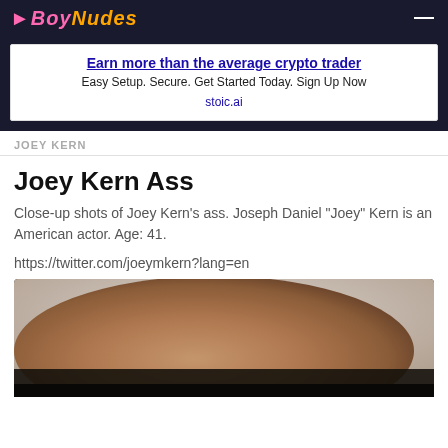Boy Nudes
Earn more than the average crypto trader
Easy Setup. Secure. Get Started Today. Sign Up Now
stoic.ai
JOEY KERN
Joey Kern Ass
Close-up shots of Joey Kern’s ass. Joseph Daniel “Joey” Kern is an American actor. Age: 41.
https://twitter.com/joeymkern?lang=en
[Figure (photo): Close-up photo showing a body part against light bedding background, with dark clothing visible at bottom]